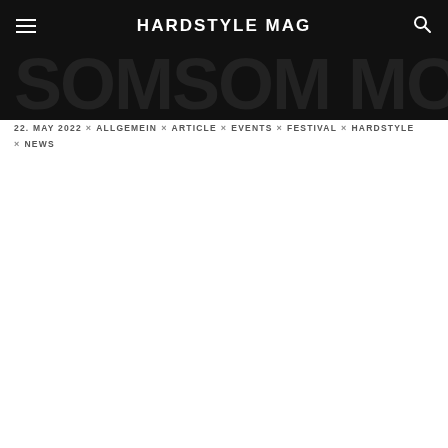HARDSTYLE MAG
SOMSOM MOMILL
22. MAY 2022 × ALLGEMEIN × ARTICLE × EVENTS × FESTIVAL × HARDSTYLE × NEWS